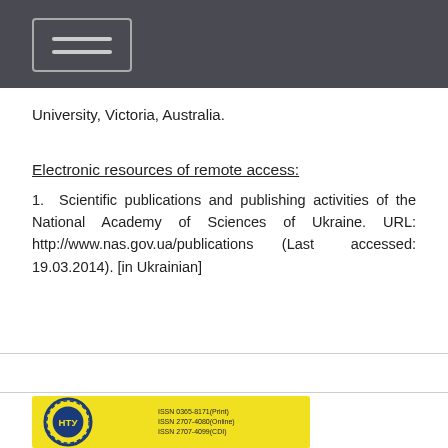[Navigation menu bar]
University, Victoria, Australia.
Electronic resources of remote access:
1.  Scientific publications and publishing activities of the National Academy of Sciences of Ukraine. URL: http://www.nas.gov.ua/publications (Last accessed: 19.03.2014). [in Ukrainian]
[Figure (logo): NTU logo with yellow background and ISSN numbers: ISSN 0365-8171(Print), ISSN 2707-4080(Online), ISSN 2707-4099(CDI)]